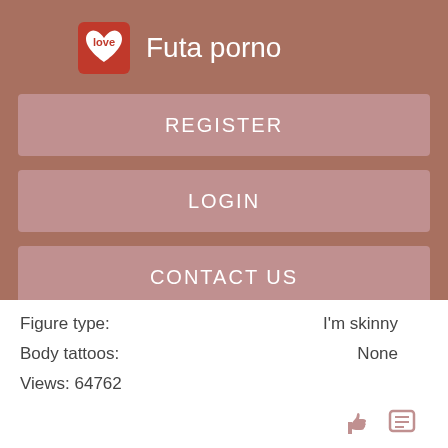[Figure (logo): Heart-shaped logo with 'love' text and stars on red background]
Futa porno
REGISTER
LOGIN
CONTACT US
Figure type:    I'm skinny
Body tattoos:    None
Views: 64762
[Figure (illustration): Thumbs up icon and list/comment icon in dusty rose color]